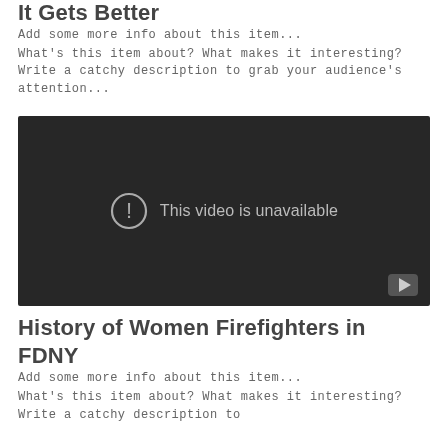It Gets Better
Add some more info about this item...
What's this item about? What makes it interesting? Write a catchy description to grab your audience's attention...
[Figure (screenshot): Embedded video player showing 'This video is unavailable' message on a dark background, with a YouTube play button in the lower right corner.]
History of Women Firefighters in FDNY
Add some more info about this item...
What's this item about? What makes it interesting? Write a catchy description to